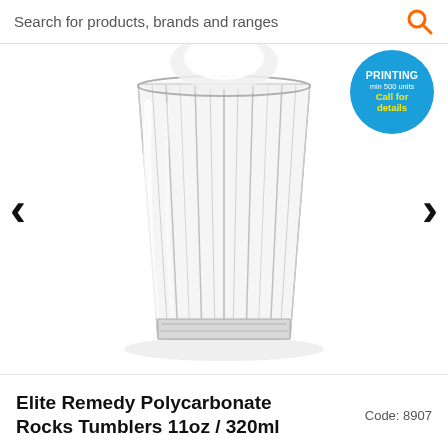Search for products, brands and ranges
[Figure (photo): A clear polycarbonate rocks tumbler glass with ribbed/faceted sides, viewed from slightly above, on a white background. Navigation chevrons left and right on either side. A blue circular badge in top-right reads CUSTOM PRINTING min 500 units Call for details.]
Elite Remedy Polycarbonate Rocks Tumblers 11oz / 320ml
Code: 8907